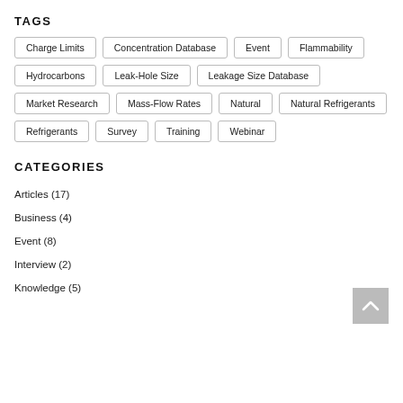TAGS
Charge Limits
Concentration Database
Event
Flammability
Hydrocarbons
Leak-Hole Size
Leakage Size Database
Market Research
Mass-Flow Rates
Natural
Natural Refrigerants
Refrigerants
Survey
Training
Webinar
CATEGORIES
Articles (17)
Business (4)
Event (8)
Interview (2)
Knowledge (5)